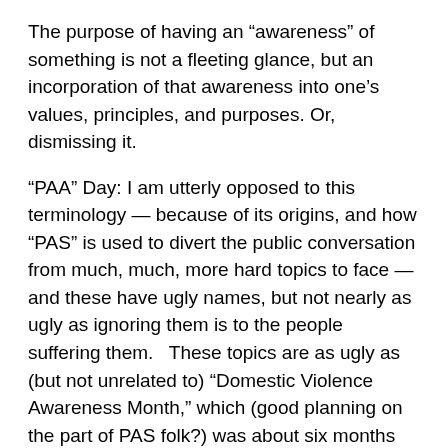The purpose of having an “awareness” of something is not a fleeting glance, but an incorporation of that awareness into one’s values, principles, and purposes.  Or, dismissing it.
“PAA” Day:  I am utterly opposed to this terminology — because of its origins, and how “PAS” is used to divert the public conversation from much, much, more hard topics to face — and these have ugly names, but not nearly as ugly as ignoring them is to the people suffering them.   These topics are as ugly as (but not unrelated to) “Domestic Violence Awareness Month,” which (good planning on the part of PAS folk?) was about six months apart from this new “day.”   As this term is primarily (though  not only) directed against custodial Mothers (in order to help switch custody, or gain more access to children), how silly that